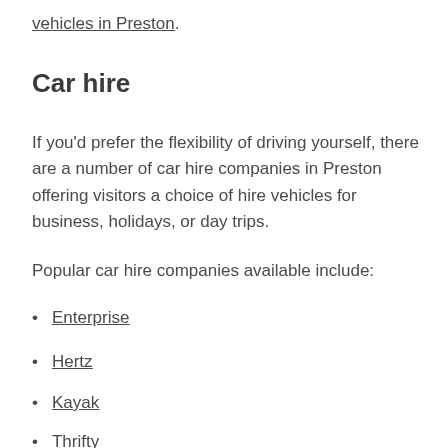vehicles in Preston.
Car hire
If you'd prefer the flexibility of driving yourself, there are a number of car hire companies in Preston offering visitors a choice of hire vehicles for business, holidays, or day trips.
Popular car hire companies available include:
Enterprise
Hertz
Kayak
Thrifty